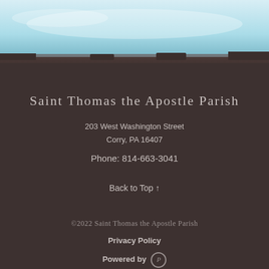[Figure (photo): Top portion showing a scenic image with blue sky and water tones, partially visible, transitioning into the dark footer area below.]
Saint Thomas the Apostle Parish
203 West Washington Street
Corry, PA 16407
Phone: 814-663-3041
Back to Top ↑
©2022 Saint Thomas the Apostle Parish
Privacy Policy
Powered by [Pi logo]